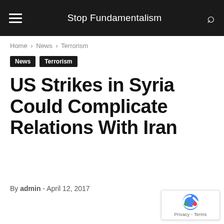Stop Fundamentalism
Home › News › Terrorism
News   Terrorism
US Strikes in Syria Could Complicate Relations With Iran
By admin - April 12, 2017